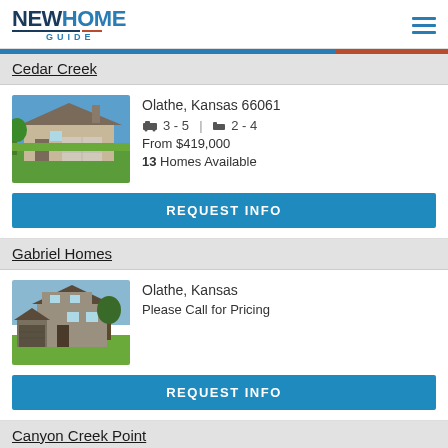NEW HOME GUIDE
Cedar Creek
[Figure (photo): Exterior photo of a single-story suburban home with attached garage, Cedar Creek listing]
Olathe, Kansas 66061
3 - 5 beds | 2 - 4 baths
From $419,000
13 Homes Available
REQUEST INFO
Gabriel Homes
[Figure (photo): Exterior photo of a two-story craftsman-style home, Gabriel Homes listing]
Olathe, Kansas
Please Call for Pricing
REQUEST INFO
Canyon Creek Point
[Figure (photo): Partial exterior photo of Canyon Creek Point listing, Lenexa Kansas]
Lenexa, Kansas